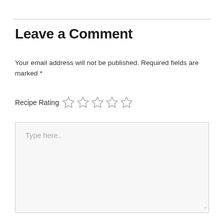Leave a Comment
Your email address will not be published. Required fields are marked *
Recipe Rating ☆☆☆☆☆
Type here..